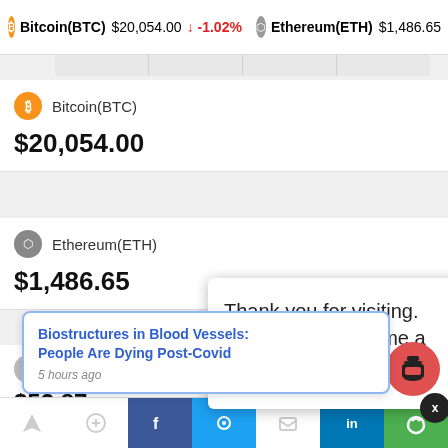Bitcoin(BTC) $20,054.00 ↓ -1.02%   Ethereum(ETH) $1,486.65
[Figure (screenshot): Table header strip with column separators]
Bitcoin(BTC)
$20,054.00
Ethereum(ETH)
$1,486.65
Lite... $53.87
Thank you for visiting. You can now buy me a coffee!
Monero(XMR)
Biostructures in Blood Vessels: People Are Dying Post-Covid
5 hours ago
(navigation icons) LinkedIn (notification bell) 3